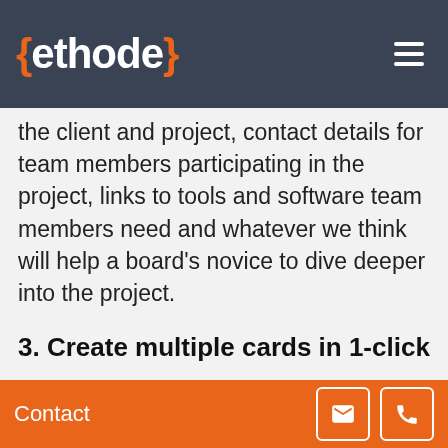{ethode}
effectively to solve this problem. We call " ", and add information about the client and project, contact details for team members participating in the project, links to tools and software team members need and whatever we think will help a board's novice to dive deeper into the project.
3. Create multiple cards in 1-click
If you already have a list of tasks to do in a text editor or spreadsheet, you can quickly create multiple Trello cards out of it.
This works out well for team members who
Contact